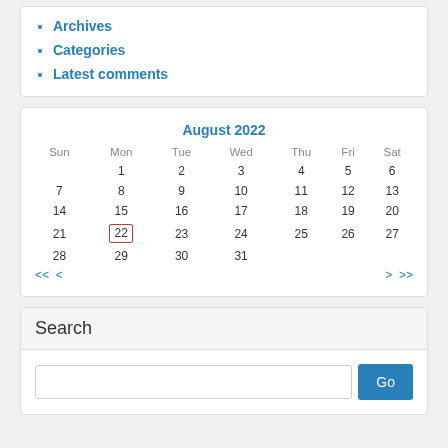Archives
Categories
Latest comments
[Figure (other): Calendar widget showing August 2022. Days of week: Sun Mon Tue Wed Thu Fri Sat. Dates 1-31 arranged in rows. Day 22 is highlighted with a red border. Navigation arrows << < > >> at bottom.]
Search
Search input field with Go button